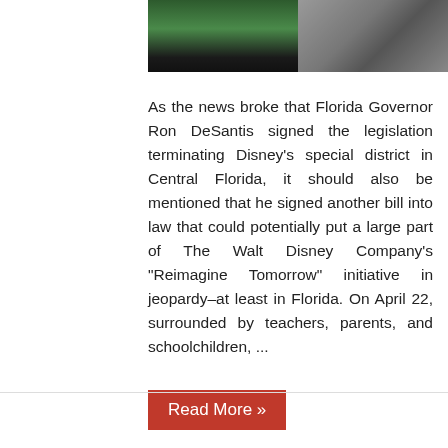[Figure (photo): Two cropped photos side by side at the top: left shows people in green and dark clothing, right shows a gray/dark background with a partial figure]
As the news broke that Florida Governor Ron DeSantis signed the legislation terminating Disney’s special district in Central Florida, it should also be mentioned that he signed another bill into law that could potentially put a large part of The Walt Disney Company’s “Reimagine Tomorrow” initiative in jeopardy–at least in Florida. On April 22, surrounded by teachers, parents, and schoolchildren, ...
Read More »